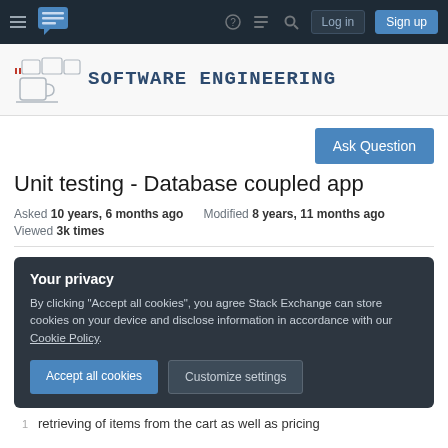Software Engineering Stack Exchange - navigation bar with Log in and Sign up buttons
[Figure (logo): Software Engineering Stack Exchange site logo with coffee cup illustration and text 'SOFTWARE ENGINEERING']
Unit testing - Database coupled app
Asked 10 years, 6 months ago   Modified 8 years, 11 months ago   Viewed 3k times
Your privacy
By clicking "Accept all cookies", you agree Stack Exchange can store cookies on your device and disclose information in accordance with our Cookie Policy.
Accept all cookies   Customize settings
retrieving of items from the cart as well as pricing